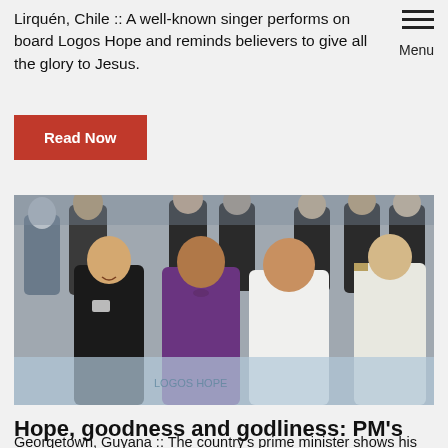Lirquén, Chile :: A well-known singer performs on board Logos Hope and reminds believers to give all the glory to Jesus.
Read Now
[Figure (photo): Group of people including officials and crew on board a ship, gathered around a table, some signing or touching an object. A woman in a purple jacket and a man in a white shirt are prominent in the center; a person in a white naval uniform stands at the right.]
Hope, goodness and godliness: PM's endorsement
Georgetown, Guyana :: The country's prime minister shows his